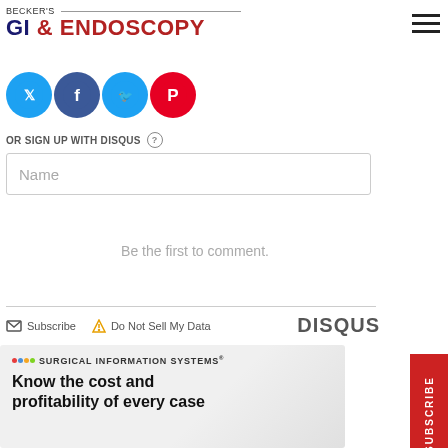BECKER'S GI & ENDOSCOPY
[Figure (logo): Social media icon buttons: Twitter/X, Facebook, Twitter, Pinterest]
OR SIGN UP WITH DISQUS ?
Name
Be the first to comment.
Subscribe   Do Not Sell My Data   DISQUS
[Figure (infographic): Surgical Information Systems advertisement. Text: Know the cost and profitability of every case]